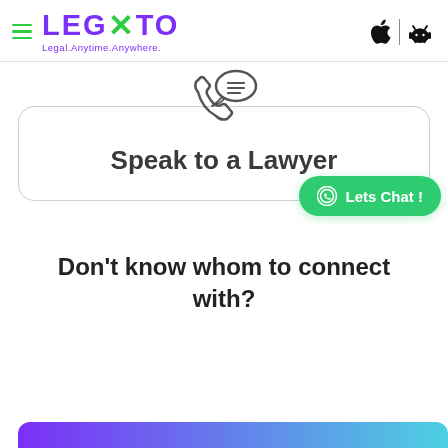[Figure (logo): Legato logo with purple text and green X, tagline: Legal.Anytime.Anywhere. Apple and Android icons on right.]
[Figure (illustration): Phone handset with speech bubble containing three lines, representing speaking to a lawyer via chat icon.]
Speak to a Lawyer
Lets Chat !
Don't know whom to connect with?